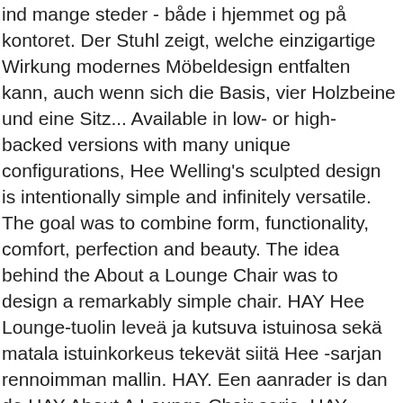ind mange steder - både i hjemmet og på kontoret. Der Stuhl zeigt, welche einzigartige Wirkung modernes Möbeldesign entfalten kann, auch wenn sich die Basis, vier Holzbeine und eine Sitz... Available in low- or high-backed versions with many unique configurations, Hee Welling's sculpted design is intentionally simple and infinitely versatile. The goal was to combine form, functionality, comfort, perfection and beauty. The idea behind the About a Lounge Chair was to design a remarkably simple chair. HAY Hee Lounge-tuolin leveä ja kutsuva istuinosa sekä matala istuinkorkeus tekevät siitä Hee -sarjan rennoimman mallin. HAY. Een aanrader is dan de HAY About A Lounge Chair serie. HAY. About A Lounge Chair AAL81 Soft. About A Lounge Chair expresses both openness and intimacy. The result is a generous sofa that strikes a bold profile and exudes comfort no matter its configuration. #armchair #chair #design #hay #lounge #modern #scandinavian #uchiwa. In line with the rest of the series, the sculpted design has been kept simple, with nothing left to chance. Available in high- and low-back versions, the high-backed version of About A Lounge Chair has a more formal expression, while the